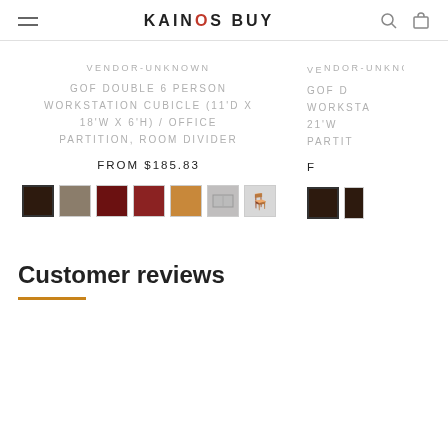KAINOS BUY
VENDOR-UNKNOWN
GOF DOUBLE 6 PERSON WORKSTATION CUBICLE (11'D X 18'W X 6'H) / OFFICE PARTITION, ROOM DIVIDER
FROM $185.83
[Figure (other): Color swatches: dark brown (selected), taupe, maroon, dark red, oak, gray panel image, office chair image]
VE...
GOF D WORKSTA 21'W PARTIT
[Figure (other): Color swatches partial: dark brown (selected), and one more partially visible]
Customer reviews